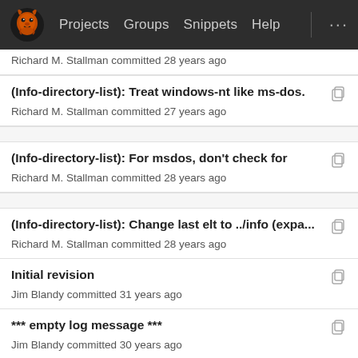Projects  Groups  Snippets  Help
Richard M. Stallman committed 28 years ago
(Info-directory-list): Treat windows-nt like ms-dos.
Richard M. Stallman committed 27 years ago
(Info-directory-list): For msdos, don't check for
Richard M. Stallman committed 28 years ago
(Info-directory-list): Change last elt to ../info (expa...
Richard M. Stallman committed 28 years ago
Initial revision
Jim Blandy committed 31 years ago
*** empty log message ***
Jim Blandy committed 30 years ago
* info.el (Info-directory-list): Doc fix: it is set accor...